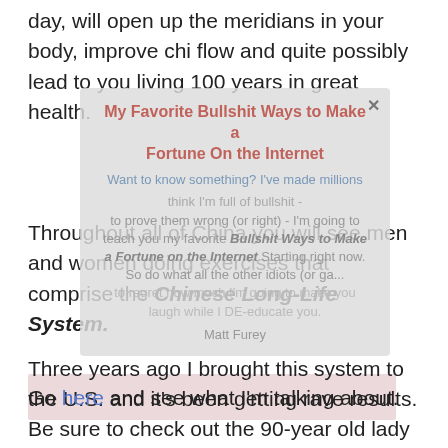day, will open up the meridians in your body, improve chi flow and quite possibly lead to you living 100 years in great health.
[Figure (other): A popup overlay dialog box with a title 'My Favorite Bullshit Ways to Make a Fortune On the Internet', subtitle 'Want to know something? I've made millions', and body text about teaching Bullshit Ways to Make a Fortune on the Internet, signed Matt Furey.]
Throughout all of China you will see men and women doing exercises that comprise the Chinese Long-Life System.
Three years ago I brought this system to the U.S. and it's been getting rave results. Be sure to check out the 90-year old lady that I practice these exercises with when I'm visiting my vacation home on China's Hainan Island.
Go here and see what I'm talking about.